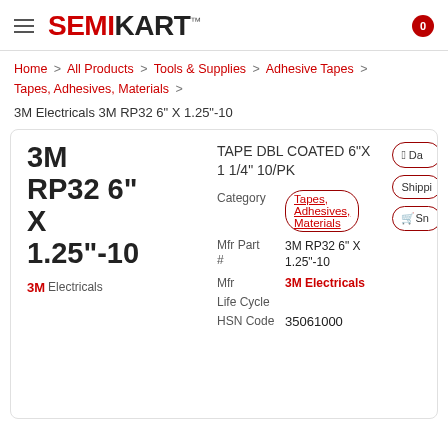SEMIKART™
Home > All Products > Tools & Supplies > Adhesive Tapes > Tapes, Adhesives, Materials >
3M Electricals 3M RP32 6" X 1.25"-10
3M RP32 6" X 1.25"-10
3M Electricals
TAPE DBL COATED 6"X 1 1/4" 10/PK
| Field | Value |
| --- | --- |
| Category | Tapes, Adhesives, Materials |
| Mfr Part # | 3M RP32 6" X 1.25"-10 |
| Mfr | 3M Electricals |
| Life Cycle |  |
| HSN Code | 35061000 |